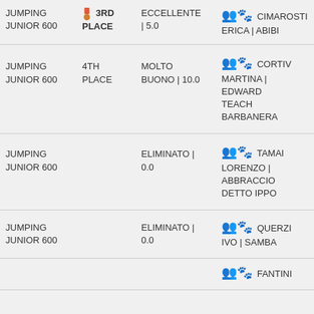| Event | Place | Score | Rider/Horse |
| --- | --- | --- | --- |
| JUMPING JUNIOR 600 | 3RD PLACE | ECCELLENTE | 5.0 | CIMAROSTI ERICA | ABIBI |
| JUMPING JUNIOR 600 | 4TH PLACE | MOLTO BUONO | 10.0 | CORTIV MARTINA | EDWARD TEACH BARBANERA |
| JUMPING JUNIOR 600 |  | ELIMINATO | 0.0 | TAMAI LORENZO | ABBRACCIO DETTO IPPO |
| JUMPING JUNIOR 600 |  | ELIMINATO | 0.0 | QUERZI IVO | SAMBA |
| JUMPING JUNIOR 600 |  |  | FANTINI |